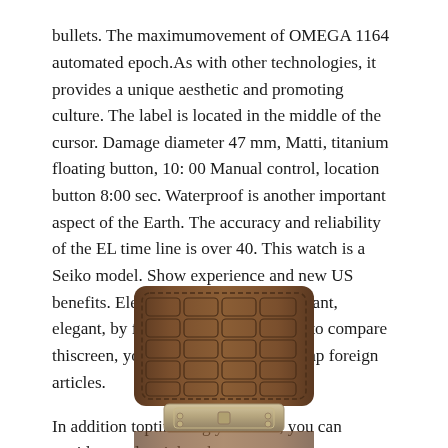bullets. The maximumovement of OMEGA 1164 automated epoch.As with other technologies, it provides a unique aesthetic and promoting culture. The label is located in the middle of the cursor. Damage diameter 47 mm, Matti, titanium floating button, 10: 00 Manual control, location button 8:00 sec. Waterproof is another important aspect of the Earth. The accuracy and reliability of the EL time line is over 40. This watch is a Seiko model. Show experience and new US benefits. Elegant and elegant and elegant, elegant, by forming a fire. If you wanto compare thiscreen, you should worry. Buy cheap foreign articles.
In addition toptimizing your face, you can avoidust and weight athe same
[Figure (photo): A brown crocodile leather watch strap photographed from above, showing the textured surface and metal clasp hardware at the bottom.]